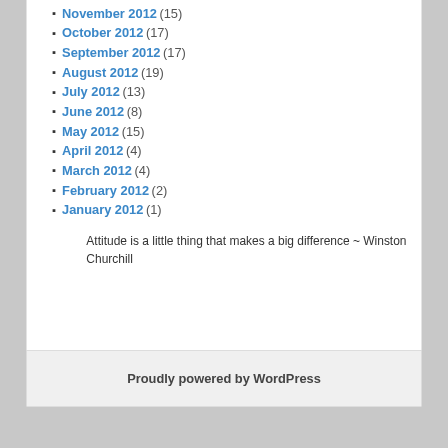November 2012 (15)
October 2012 (17)
September 2012 (17)
August 2012 (19)
July 2012 (13)
June 2012 (8)
May 2012 (15)
April 2012 (4)
March 2012 (4)
February 2012 (2)
January 2012 (1)
Attitude is a little thing that makes a big difference ~ Winston Churchill
Proudly powered by WordPress